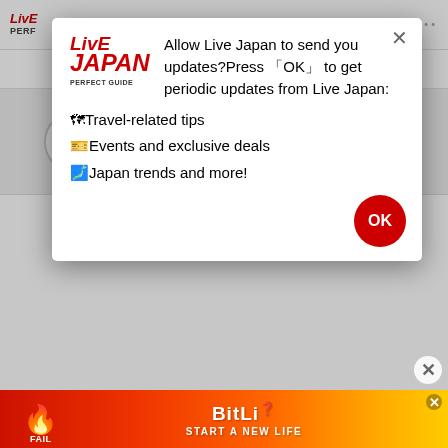LIVE JAPAN PERFECT GUIDE
[Figure (screenshot): Modal notification popup from Live Japan website asking permission to send updates, with Live Japan logo, prompt text, bullet items, and OK button]
Gumyoji Temple
Gumyoji Temple, which is believed to have been founded in the year 721, is a respite from the Yokohama hustle and bustle. The temple features an 11-headed Kannon statue, who is the Goddess of Mercy. The statue can be touched by placing a hand on a wooden pillar in the courtyard which is attached to the statue by a cord. It's a 30min. train ride by Keikyu-honsen from Yokohama station.
[Figure (screenshot): Advertisement banner for BitLife - Start a New Life game, with red/orange/yellow gradient background and cartoon character]